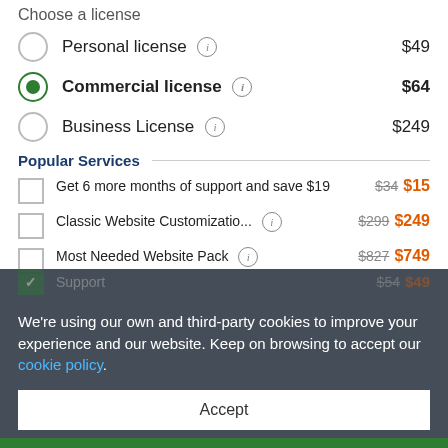Choose a license
Personal license  $49
Commercial license  $64
Business License  $249
Popular Services
Get 6 more months of support and save $19  $34  $15
Classic Website Customizatio...  $299  $249
Most Needed Website Pack  $827  $749
We're using our own and third-party cookies to improve your experience and our website. Keep on browsing to accept our cookie policy.
Accept